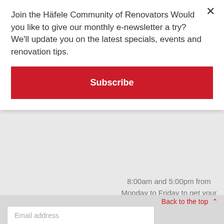Join the Häfele Community of Renovators Would you like to give our monthly e-newsletter a try? We'll update you on the latest specials, events and renovation tips.
Subscribe
8:00am and 5:00pm from Monday to Friday to get your questions answered!
Back to the top ^
Email address
Subscribe
We will assist you